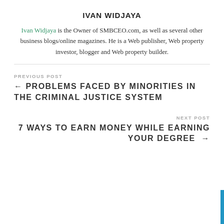IVAN WIDJAYA
Ivan Widjaya is the Owner of SMBCEO.com, as well as several other business blogs/online magazines. He is a Web publisher, Web property investor, blogger and Web property builder.
PREVIOUS POST
← PROBLEMS FACED BY MINORITIES IN THE CRIMINAL JUSTICE SYSTEM
NEXT POST
7 WAYS TO EARN MONEY WHILE EARNING YOUR DEGREE →